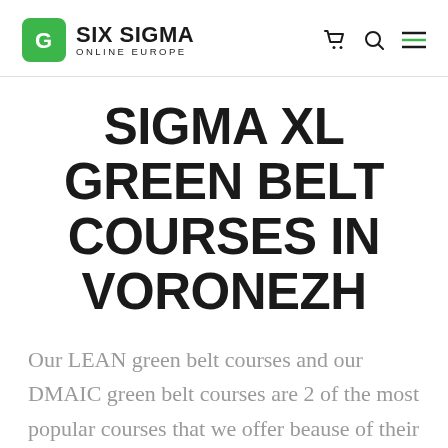SIX SIGMA ONLINE EUROPE
SIGMA XL GREEN BELT COURSES IN VORONEZH
Our LEAN green belt courses and our DMAIC green belt courses are 2 of the most popular courses that we offer beause of their highly practical approach to resolve very common